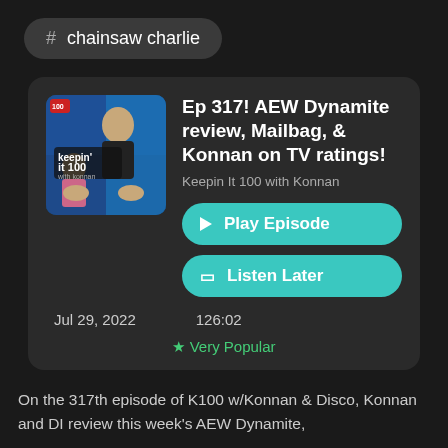# chainsaw charlie
Ep 317! AEW Dynamite review, Mailbag, & Konnan on TV ratings!
Keepin It 100 with Konnan
Play Episode
Listen Later
Jul 29, 2022   126:02
★ Very Popular
On the 317th episode of K100 w/Konnan & Disco, Konnan and DI review this week's AEW Dynamite,